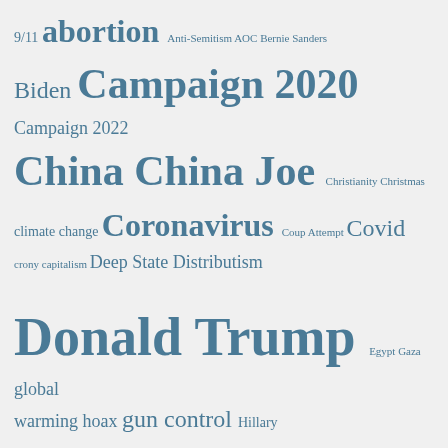[Figure (infographic): Tag cloud / word cloud featuring political topics in varying font sizes. Topics include: 9/11, abortion, Anti-Semitism, AOC, Bernie Sanders, Biden, Campaign 2020, Campaign 2022, China, China Joe, Christianity, Christmas, climate change, Coronavirus, Coup Attempt, Covid, crony capitalism, Deep State, Distributism, Donald Trump, Egypt, Gaza, global warming hoax, gun control, Hillary, immigration, Impeachment, inflation, Iran, Islam, Israel, Jeffrey Epstein, Joe Biden, Kavanaugh, liberal fascism, liberal lies, liberal racism, make/mine/grow, Manchin, Mars, Mass Shooting, media bias, Mirrors, MSM, Mueller, Nancy Pelosi, Never Trump, North Korea, Obama, Planned Parenthood, Polls, President Trump, Putin. Words sized by frequency/importance.]